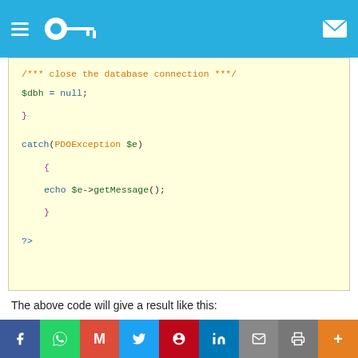Navigation bar with key logo
[Figure (screenshot): PHP code block showing /*** close the database connection ***/ comment, $dbh = null;, closing brace, catch(PDOException $e) block with echo $e->getMessage(); and closing ?> tag, on a light yellow background]
The above code will give a result like this:
[Figure (screenshot): Output box showing: Connected to database, animal_id - 1, animal_type - emu, animal_name - bruce (partially visible), on a light grey background]
Veri politikasındaki amaçlarla sınırlı ve mevzuata uygun şekilde çerez
Share bar with Facebook, WhatsApp, Gmail, Twitter, Pinterest, LinkedIn, Mail, Print, More buttons